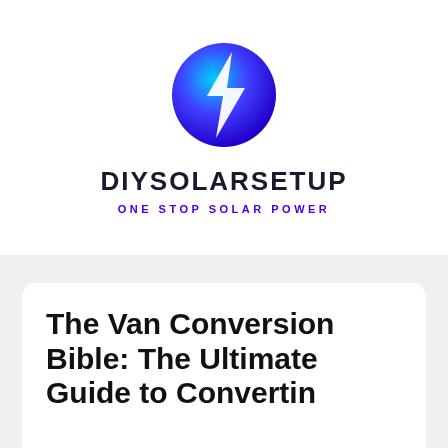[Figure (logo): DIYSolarSetup circular logo with blue lightning bolt on gradient blue circle background]
DIYSOLARSETUP
ONE STOP SOLAR POWER
The Van Conversion Bible: The Ultimate Guide to Converting...